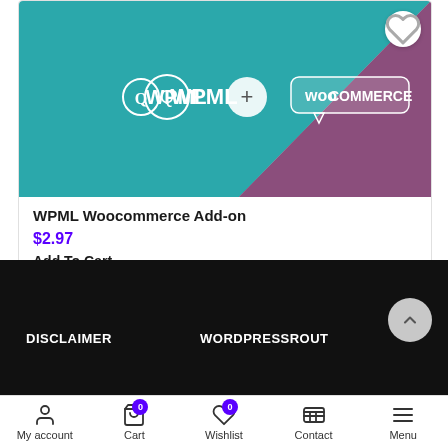[Figure (screenshot): Product image showing WPML + WooCommerce integration logos on a teal and purple diagonal background]
WPML Woocommerce Add-on
$2.97
Add To Cart
DISCLAIMER
WORDPRESSROUT
My account | Cart 0 | Wishlist 0 | Contact | Menu